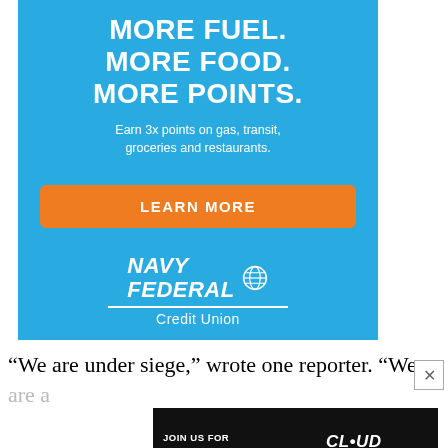[Figure (illustration): Navy Federal Credit Union advertisement banner on teal/blue background. Large bold white text reads MORE FUEL. MORE FOOD. MORE POINTS. Subtitle: Earn 3x points on gas, transit, groceries and restaurants. Orange button: LEARN MORE. Navy Federal Credit Union logo with globe icon at bottom.]
“We are under siege,” wrote one reporter. “We are a
[Figure (illustration): Dark advertisement banner: JOIN US FOR A SPECIAL EVENT SEPTEMBER 13 - 15. Cloud Exchange logo on right side with cloud/network imagery.]